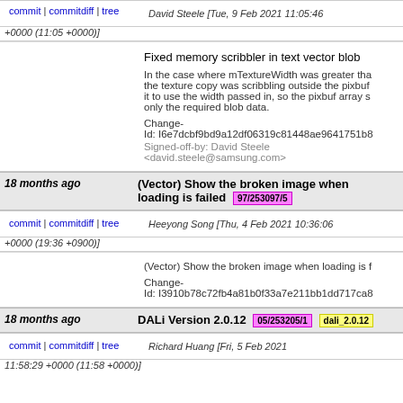commit | commitdiff | tree   David Steele [Tue, 9 Feb 2021 11:05:46 +0000 (11:05 +0000)]
Fixed memory scribbler in text vector blob

In the case where mTextureWidth was greater than the texture copy was scribbling outside the pixbuf it to use the width passed in, so the pixbuf array sl only the required blob data.

Change-Id: I6e7dcbf9bd9a12df06319c81448ae9641751b8
Signed-off-by: David Steele <david.steele@samsung.com>
18 months ago   (Vector) Show the broken image when loading is failed  97/253097/5
commit | commitdiff | tree   Heeyong Song [Thu, 4 Feb 2021 10:36:06 +0000 (19:36 +0900)]
(Vector) Show the broken image when loading is f

Change-Id: I3910b78c72fb4a81b0f33a7e211bb1dd717ca8
18 months ago   DALi Version 2.0.12  05/253205/1  dali_2.0.12
commit | commitdiff | tree   Richard Huang [Fri, 5 Feb 2021 11:58:29 +0000 (11:58 +0000)]